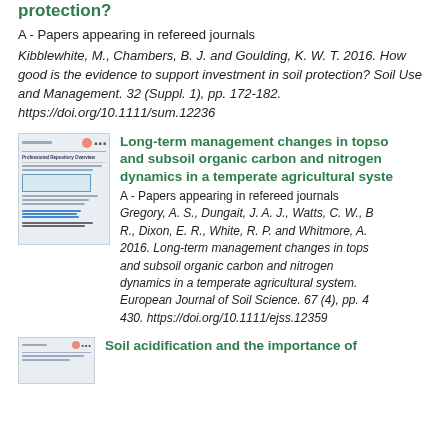protection?
A - Papers appearing in refereed journals
Kibblewhite, M., Chambers, B. J. and Goulding, K. W. T. 2016. How good is the evidence to support investment in soil protection? Soil Use and Management. 32 (Suppl. 1), pp. 172-182. https://doi.org/10.1111/sum.12236
Long-term management changes in topsoil and subsoil organic carbon and nitrogen dynamics in a temperate agricultural system
A - Papers appearing in refereed journals
Gregory, A. S., Dungait, J. A. J., Watts, C. W., B... R., Dixon, E. R., White, R. P. and Whitmore, A. 2016. Long-term management changes in topsoil and subsoil organic carbon and nitrogen dynamics in a temperate agricultural system. European Journal of Soil Science. 67 (4), pp. 42-430. https://doi.org/10.1111/ejss.12359
Soil acidification and the importance of